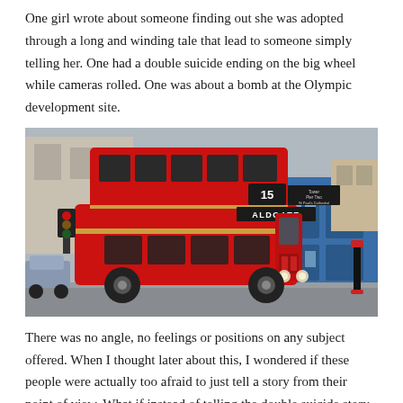One girl wrote about someone finding out she was adopted through a long and winding tale that lead to someone simply telling her. One had a double suicide ending on the big wheel while cameras rolled. One was about a bomb at the Olympic development site.
[Figure (photo): A red London double-decker bus (Route 15 to Aldgate) on a city street, with a blue-fronted building on the right.]
There was no angle, no feelings or positions on any subject offered. When I thought later about this, I wondered if these people were actually too afraid to just tell a story from their point of view. What if instead of telling the double suicide story, you had someone see it